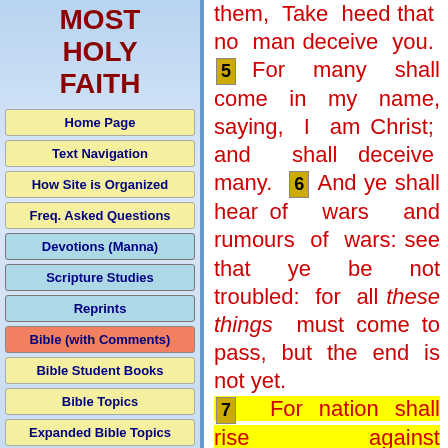MOST HOLY FAITH
Home Page
Text Navigation
How Site is Organized
Freq. Asked Questions
Devotions (Manna)
Scripture Studies
Reprints
Bible (with Comments)
Bible Student Books
Bible Topics
Expanded Bible Topics
Bible Student Webs
Miscellaneous
them, Take heed that no man deceive you. 5 For many shall come in my name, saying, I am Christ; and shall deceive many. 6 And ye shall hear of wars and rumours of wars: see that ye be not troubled: for all these things must come to pass, but the end is not yet. 7 For nation shall rise against nation, and kingdom against kingdom...